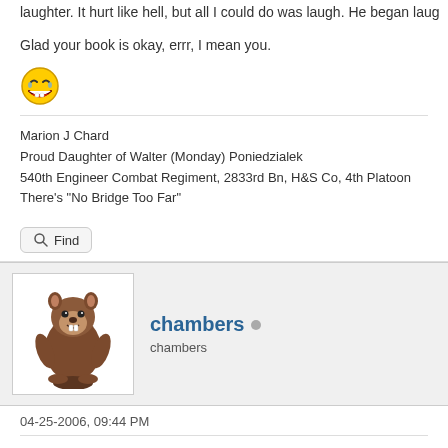laughter. It hurt like hell, but all I could do was laugh. He began laug
Glad your book is okay, errr, I mean you.
[Figure (illustration): Laughing smiley face emoji]
Marion J Chard
Proud Daughter of Walter (Monday) Poniedzialek
540th Engineer Combat Regiment, 2833rd Bn, H&S Co, 4th Platoon
There's "No Bridge Too Far"
Find
chambers
chambers
04-25-2006, 09:44 PM